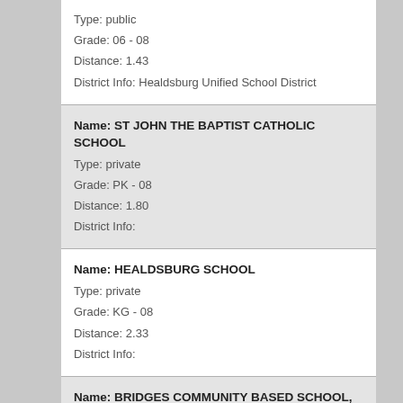Type: public
Grade: 06 - 08
Distance: 1.43
District Info: Healdsburg Unified School District
Name: ST JOHN THE BAPTIST CATHOLIC SCHOOL
Type: private
Grade: PK - 08
Distance: 1.80
District Info:
Name: HEALDSBURG SCHOOL
Type: private
Grade: KG - 08
Distance: 2.33
District Info:
Name: BRIDGES COMMUNITY BASED SCHOOL, NORTH COUNTY CONSO